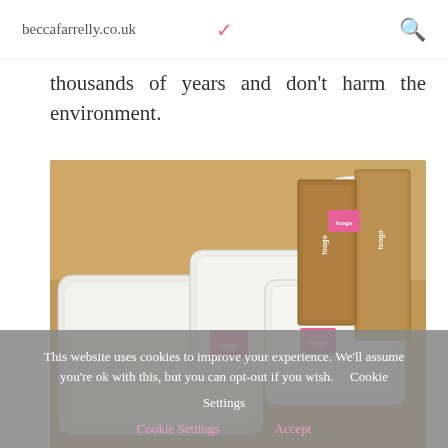beccafarrelly.co.uk
thousands of years and don't harm the environment.
[Figure (photo): Photo of Foogo brand palm leaf plates and bowls in various sizes displayed on a wooden dining table, with brown cardboard Foogo branded boxes in the background.]
This website uses cookies to improve your experience. We'll assume you're ok with this, but you can opt-out if you wish. Cookie Settings Accept